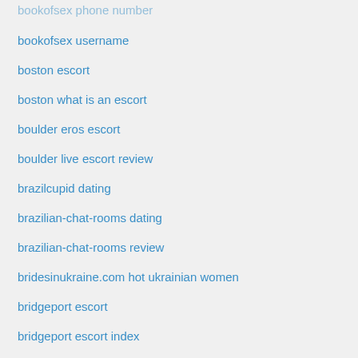bookofsex username
boston escort
boston what is an escort
boulder eros escort
boulder live escort review
brazilcupid dating
brazilian-chat-rooms dating
brazilian-chat-rooms review
bridesinukraine.com hot ukrainian women
bridgeport escort
bridgeport escort index
brightbrides.net The Best Lesbian Dating Site
bristlr italia
broken-arrow escort porn